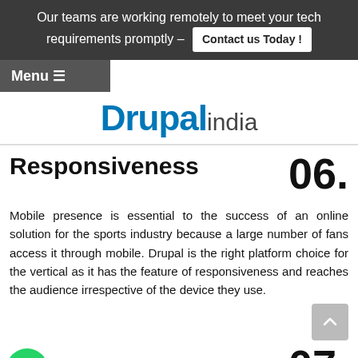Our teams are working remotely to meet your tech requirements promptly – Contact us Today !
Menu ☰
[Figure (logo): Drupalindia logo — 'Drupal' in bold blue, 'india' in dark gray]
Responsiveness
06.
Mobile presence is essential to the success of an online solution for the sports industry because a large number of fans access it through mobile. Drupal is the right platform choice for the vertical as it has the feature of responsiveness and reaches the audience irrespective of the device they use.
Scalability
07.